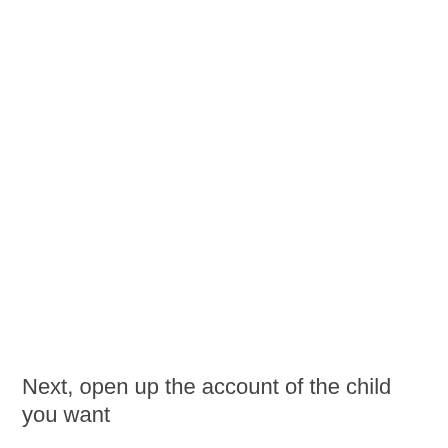Next, open up the account of the child you want